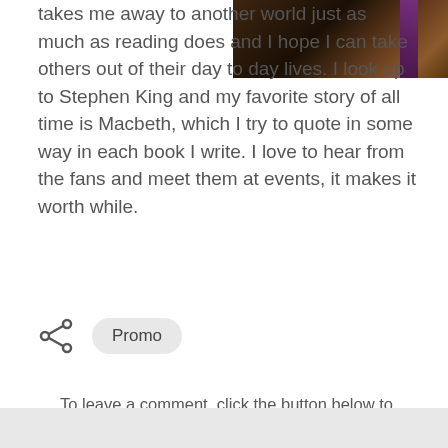[Figure (photo): Dark photo showing hair with purple streak, cropped at top right]
takes me away to another world just as much as reading does and I hope I can take others out of their day to day lives. I look up to Stephen King and my favorite story of all time is Macbeth, which I try to quote in some way in each book I write. I love to hear from the fans and meet them at events, it makes it worth while.
[Figure (infographic): Share icon (less-than symbol style) followed by Promo tag button]
To leave a comment, click the button below to sign in with Google.
SIGN IN WITH GOOGLE